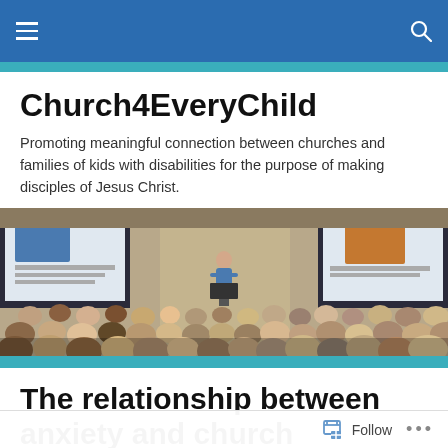Church4EveryChild navigation bar
Church4EveryChild
Promoting meaningful connection between churches and families of kids with disabilities for the purpose of making disciples of Jesus Christ.
[Figure (photo): A speaker presenting at a conference to a large audience in a hotel ballroom, with projection screens visible on either side.]
The relationship between anxiety and church attendance
Follow